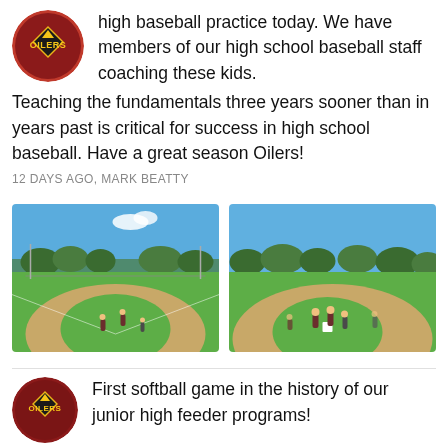[Figure (photo): Oilers baseball team logo — circular red badge with team name]
high baseball practice today. We have members of our high school baseball staff coaching these kids. Teaching the fundamentals three years sooner than in years past is critical for success in high school baseball. Have a great season Oilers!
12 DAYS AGO, MARK BEATTY
[Figure (photo): Baseball practice on an outdoor diamond, wide view with players on field, blue sky, green grass and dirt infield]
[Figure (photo): Baseball practice on an outdoor diamond, closer view with players near a base, blue sky, green trees in background]
[Figure (logo): Oilers baseball team logo — circular dark red badge with team name]
First softball game in the history of our junior high feeder programs!